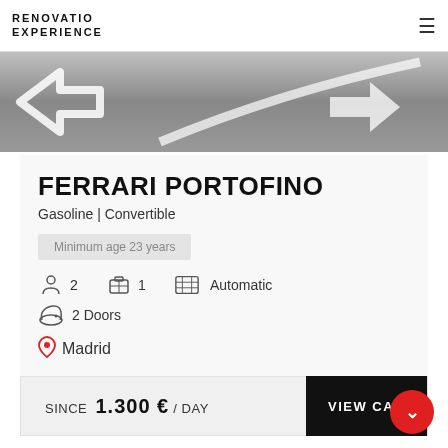RENOVATIO EXPERIENCE
[Figure (photo): Black and white aerial photo of a race track or road surface with white painted arrows/lines]
FERRARI PORTOFINO
Gasoline | Convertible
Minimum age 23 years
2 passengers  1 luggage  Automatic  2 Doors
Madrid
SINCE 1.300 € / DAY
VIEW CAR